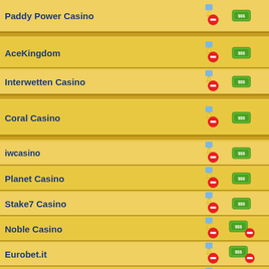Paddy Power Casino
AceKingdom
Interwetten Casino
Coral Casino
iwcasino
Planet Casino
Stake7 Casino
Noble Casino
Eurobet.it
Winner Casino